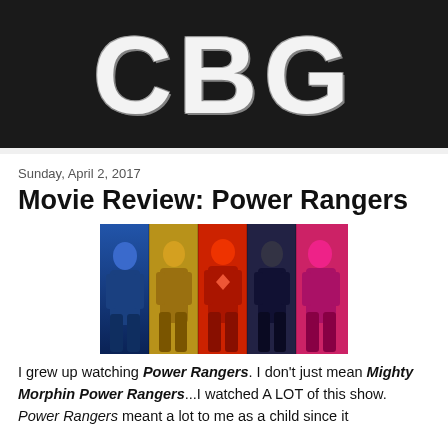[Figure (logo): CBG logo in large white bold letters on a dark/black background]
Sunday, April 2, 2017
Movie Review: Power Rangers
[Figure (photo): Five Power Rangers characters in blue, yellow, red, black, and pink armor suits standing together]
I grew up watching Power Rangers. I don't just mean Mighty Morphin Power Rangers...I watched A LOT of this show. Power Rangers meant a lot to me as a child since it